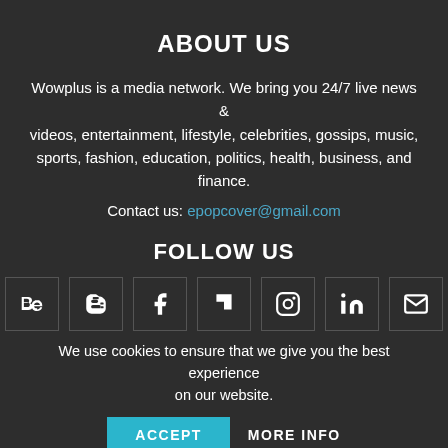ABOUT US
Wowplus is a media network. We bring you 24/7 live news & videos, entertainment, lifestyle, celebrities, gossips, music, sports, fashion, education, politics, health, business, and finance.
Contact us: epopcover@gmail.com
FOLLOW US
[Figure (infographic): Row of 7 social media icon boxes: Behance, Blogger, Facebook, Flipboard, Instagram, LinkedIn, Email]
We use cookies to ensure that we give you the best experience on our website.
ACCEPT   MORE INFO